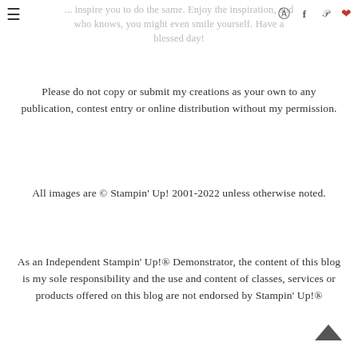... inspire you to do the same. Enjoy the inspiration, and who knows, you might even smile yourself. Have a blessed day!
Please do not copy or submit my creations as your own to any publication, contest entry or online distribution without my permission.
All images are © Stampin' Up! 2001-2022 unless otherwise noted.
As an Independent Stampin' Up!® Demonstrator, the content of this blog is my sole responsibility and the use and content of classes, services or products offered on this blog are not endorsed by Stampin' Up!®